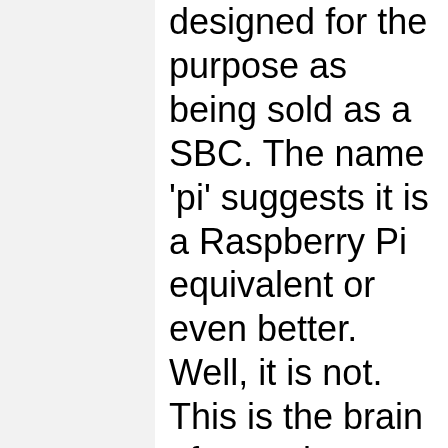designed for the purpose as being sold as a SBC. The name 'pi' suggests it is a Raspberry Pi equivalent or even better. Well, it is not. This is the brain of a product called Kuri by Mayfield Robotics that